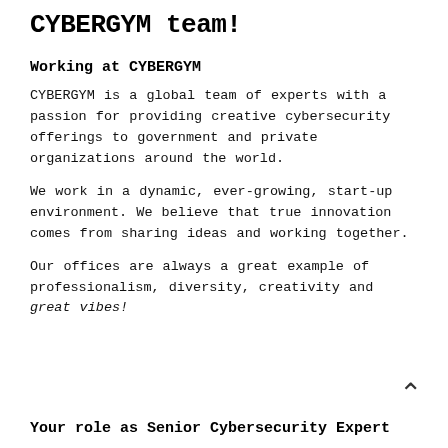CYBERGYM team!
Working at CYBERGYM
CYBERGYM is a global team of experts with a passion for providing creative cybersecurity offerings to government and private organizations around the world.
We work in a dynamic, ever-growing, start-up environment. We believe that true innovation comes from sharing ideas and working together.
Our offices are always a great example of professionalism, diversity, creativity and great vibes!
Your role as Senior Cybersecurity Expert